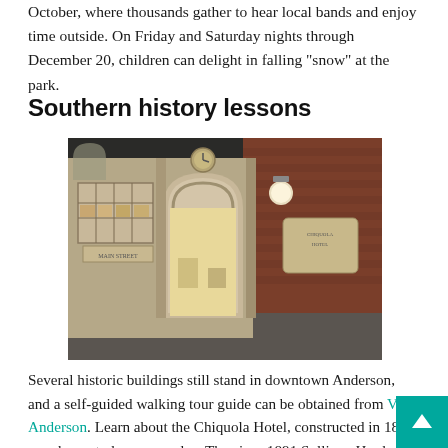October, where thousands gather to hear local bands and enjoy time outside. On Friday and Saturday nights through December 20, children can delight in falling "snow" at the park.
Southern history lessons
[Figure (photo): Interior of a museum exhibit featuring a recreated historic storefront with brick walls, arched windows, a clock above the entrance, and display items inside.]
Several historic buildings still stand in downtown Anderson, and a self-guided walking tour guide can be obtained from Visit Anderson. Learn about the Chiquola Hotel, constructed in 1888, now home to luxury condos. The circa-1891 Sullivan Hardware Store now serves as an upscale restaurant, on the...